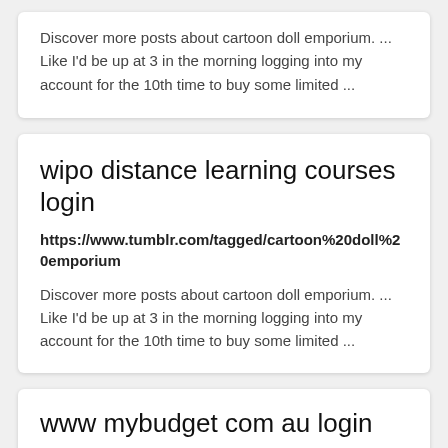Discover more posts about cartoon doll emporium. ... Like I'd be up at 3 in the morning logging into my account for the 10th time to buy some limited ...
wipo distance learning courses login
https://www.tumblr.com/tagged/cartoon%20doll%20emporium
Discover more posts about cartoon doll emporium. ... Like I'd be up at 3 in the morning logging into my account for the 10th time to buy some limited ...
www mybudget com au login
https://www.tumblr.com/tagged/cartoon%20doll%20emp